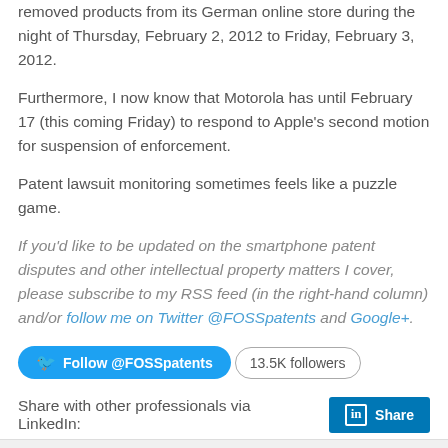removed products from its German online store during the night of Thursday, February 2, 2012 to Friday, February 3, 2012.
Furthermore, I now know that Motorola has until February 17 (this coming Friday) to respond to Apple's second motion for suspension of enforcement.
Patent lawsuit monitoring sometimes feels like a puzzle game.
If you'd like to be updated on the smartphone patent disputes and other intellectual property matters I cover, please subscribe to my RSS feed (in the right-hand column) and/or follow me on Twitter @FOSSpatents and Google+.
[Figure (other): Twitter Follow @FOSSpatents button and 13.5K followers badge]
Share with other professionals via LinkedIn:
[Figure (other): Social share buttons: AddThis Share, Facebook, Twitter, Print, Pinterest]